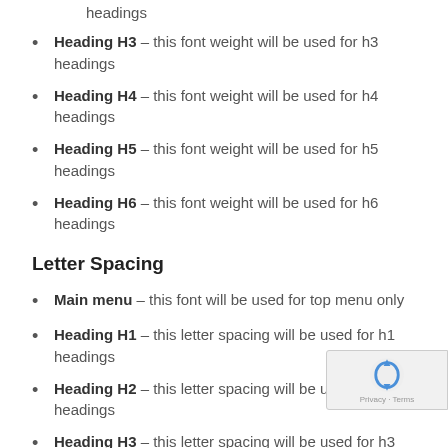headings
Heading H3 – this font weight will be used for h3 headings
Heading H4 – this font weight will be used for h4 headings
Heading H5 – this font weight will be used for h5 headings
Heading H6 – this font weight will be used for h6 headings
Letter Spacing
Main menu – this font will be used for top menu only
Heading H1 – this letter spacing will be used for h1 headings
Heading H2 – this letter spacing will be used for h2 headings
Heading H3 – this letter spacing will be used for h3 headings